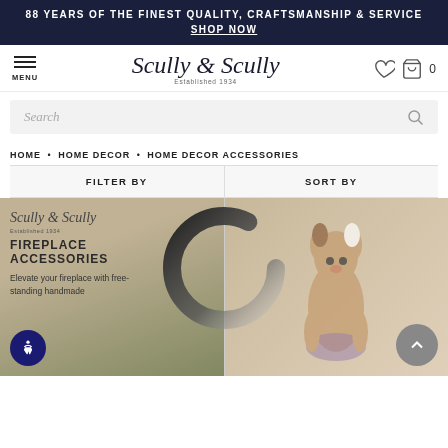88 YEARS OF THE FINEST QUALITY, CRAFTSMANSHIP & SERVICE SHOP NOW
[Figure (logo): Scully & Scully script logo with 'Established 1934' subtitle, navigation menu icon and shopping cart icon]
Search
HOME • HOME DECOR • HOME DECOR ACCESSORIES
FILTER BY     SORT BY
[Figure (screenshot): Loading spinner (dark ring) overlaid on product grid]
[Figure (photo): Left product tile: Scully & Scully logo with fireplace accessories text and description 'Elevate your fireplace with free-standing handmade'; Right product tile: Cavalier King Charles Spaniel dog on decorative cushion]